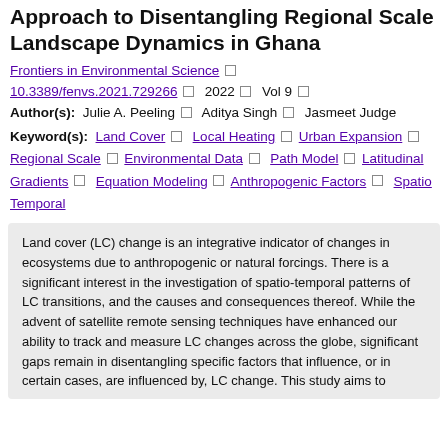Approach to Disentangling Regional Scale Landscape Dynamics in Ghana
Frontiers in Environmental Science □ 10.3389/fenvs.2021.729266 □ 2022 □ Vol 9 □
Author(s): Julie A. Peeling □ Aditya Singh □ Jasmeet Judge
Keyword(s): Land Cover □ Local Heating □ Urban Expansion □ Regional Scale □ Environmental Data □ Path Model □ Latitudinal Gradients □ Equation Modeling □ Anthropogenic Factors □ Spatio Temporal
Land cover (LC) change is an integrative indicator of changes in ecosystems due to anthropogenic or natural forcings. There is a significant interest in the investigation of spatio-temporal patterns of LC transitions, and the causes and consequences thereof. While the advent of satellite remote sensing techniques have enhanced our ability to track and measure LC changes across the globe, significant gaps remain in disentangling specific factors that influence, or in certain cases, are influenced by, LC change. This study aims to